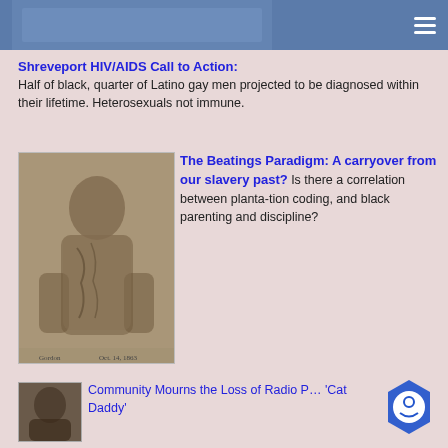Shreveport HIV/AIDS Call to Action:
Half of black, quarter of Latino gay men projected to be diagnosed within their lifetime. Heterosexuals not immune.
[Figure (photo): Historical sepia photograph of a man showing scarred back, related to slavery era]
The Beatings Paradigm: A carryover from our slavery past? Is there a correlation between planta-tion coding, and black parenting and discipline?
[Figure (photo): Small portrait photo of a man]
Community Mourns the Loss of Radio P... 'Cat Daddy'